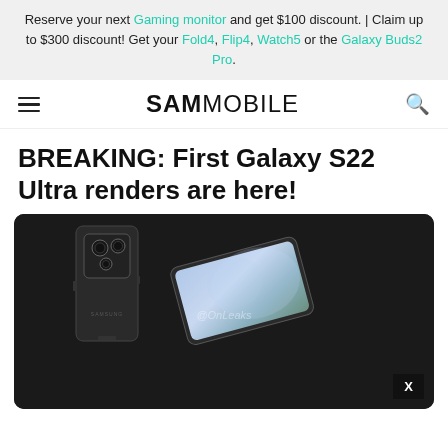Reserve your next Gaming monitor and get $100 discount. | Claim up to $300 discount! Get your Fold4, Flip4, Watch5 or the Galaxy Buds2 Pro.
SAM MOBILE
BREAKING: First Galaxy S22 Ultra renders are here!
[Figure (photo): Render of the Samsung Galaxy S22 Ultra smartphone showing front and back views on a dark background, with watermark @OnLeaks]